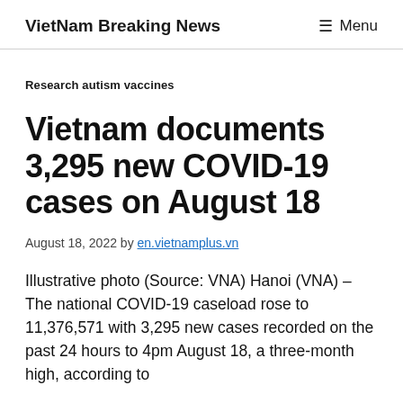VietNam Breaking News  ☰ Menu
Research autism vaccines
Vietnam documents 3,295 new COVID-19 cases on August 18
August 18, 2022 by en.vietnamplus.vn
Illustrative photo (Source: VNA) Hanoi (VNA) – The national COVID-19 caseload rose to 11,376,571 with 3,295 new cases recorded on the past 24 hours to 4pm August 18, a three-month high, according to